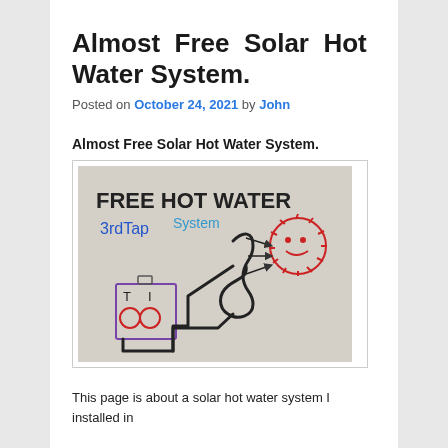Almost Free Solar Hot Water System.
Posted on October 24, 2021 by John
Almost Free Solar Hot Water System.
[Figure (illustration): Hand-drawn diagram showing a 'FREE HOT WATER 3rd Tap System' with a coiled pipe/tube connecting a water heater tank (left) to a smiling sun drawing (right), with arrows indicating flow direction. Text labels: 'FREE HOT WATER' in black, '3rdTap System' in blue.]
This page is about a solar hot water system I installed in